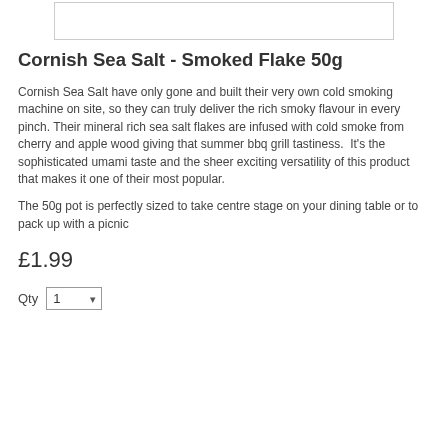[Figure (photo): Product image placeholder box (white rectangle with border)]
Cornish Sea Salt - Smoked Flake 50g
Cornish Sea Salt have only gone and built their very own cold smoking machine on site, so they can truly deliver the rich smoky flavour in every pinch. Their mineral rich sea salt flakes are infused with cold smoke from cherry and apple wood giving that summer bbq grill tastiness.  It's the sophisticated umami taste and the sheer exciting versatility of this product that makes it one of their most popular.
The 50g pot is perfectly sized to take centre stage on your dining table or to pack up with a picnic
£1.99
Qty  1